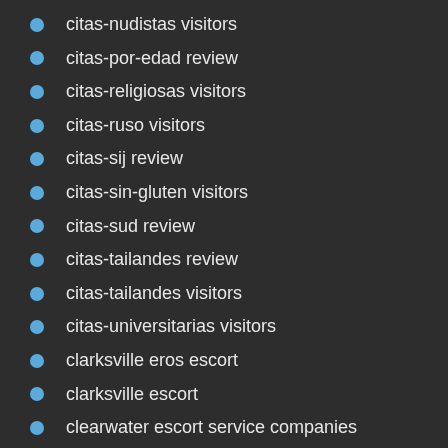citas-nudistas visitors
citas-por-edad review
citas-religiosas visitors
citas-ruso visitors
citas-sij review
citas-sin-gluten visitors
citas-sud review
citas-tailandes review
citas-tailandes visitors
citas-universitarias visitors
clarksville eros escort
clarksville escort
clearwater escort service companies
Cleveland+OH+Ohio reviews
clinton nude escort